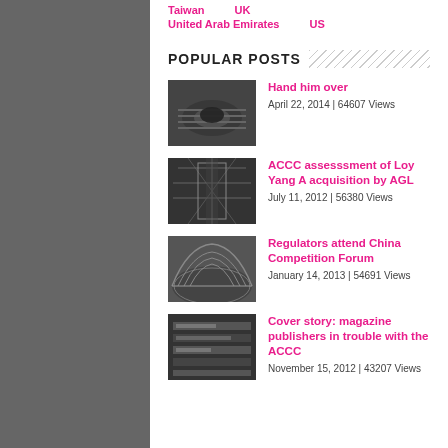Taiwan | UK
United Arab Emirates | US
POPULAR POSTS
[Figure (photo): Black and white close-up photo of coiled cables or hoses]
Hand him over
April 22, 2014 | 64607 Views
[Figure (photo): Black and white aerial photo of electrical transmission towers]
ACCC assesssment of Loy Yang A acquisition by AGL
July 11, 2012 | 56380 Views
[Figure (photo): Black and white photo of a stadium with lattice roof structure]
Regulators attend China Competition Forum
January 14, 2013 | 54691 Views
[Figure (photo): Black and white photo of stacked items or printed materials]
Cover story: magazine publishers in trouble with the ACCC
November 15, 2012 | 43207 Views